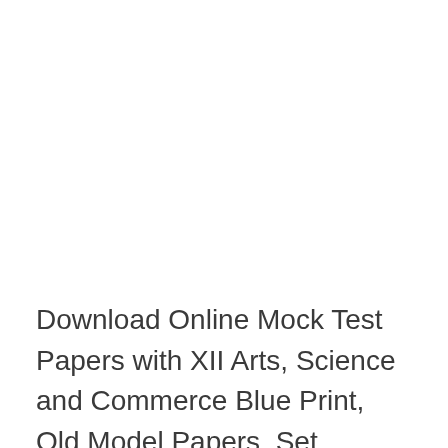Download Online Mock Test Papers with XII Arts, Science and Commerce Blue Print, Old Model Papers, Set insightful Study Materials and e-Text books download Hindustani Music, English, Business Studies, Hindi, Sociology